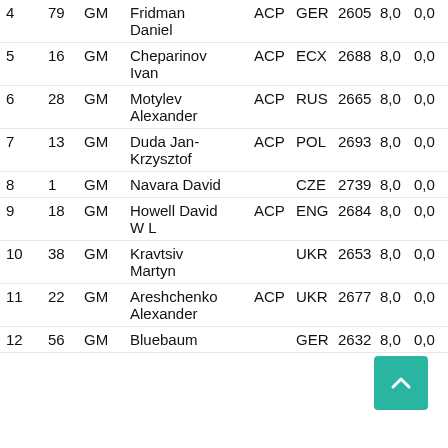| # | No | Title | Name | ACP | Fed | Elo | Pts | Dec | SB |
| --- | --- | --- | --- | --- | --- | --- | --- | --- | --- |
| 4 | 79 | GM | Fridman Daniel | ACP | GER | 2605 | 8,0 | 0,0 | 74... |
| 5 | 16 | GM | Cheparinov Ivan | ACP | ECX | 2688 | 8,0 | 0,0 | 70... |
| 6 | 28 | GM | Motylev Alexander | ACP | RUS | 2665 | 8,0 | 0,0 | 68... |
| 7 | 13 | GM | Duda Jan-Krzysztof | ACP | POL | 2693 | 8,0 | 0,0 | 67... |
| 8 | 1 | GM | Navara David |  | CZE | 2739 | 8,0 | 0,0 | 67... |
| 9 | 18 | GM | Howell David W L | ACP | ENG | 2684 | 8,0 | 0,0 | 65... |
| 10 | 38 | GM | Kravtsiv Martyn |  | UKR | 2653 | 8,0 | 0,0 | 64... |
| 11 | 22 | GM | Areshchenko Alexander | ACP | UKR | 2677 | 8,0 | 0,0 | 63... |
| 12 | 56 | GM | Bluebaum ... |  | GER | 2632 | 8,0 | 0,0 | 62... |